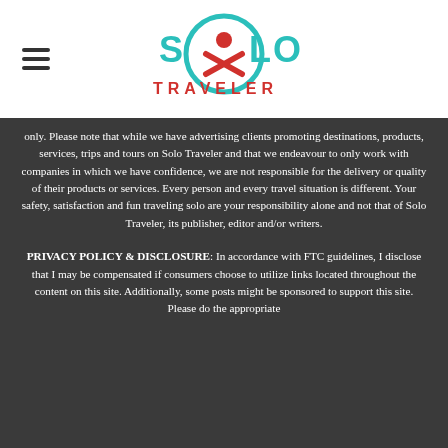[Figure (logo): Solo Traveler logo with teal/red globe icon and SOLO TRAVELER text]
only. Please note that while we have advertising clients promoting destinations, products, services, trips and tours on Solo Traveler and that we endeavour to only work with companies in which we have confidence, we are not responsible for the delivery or quality of their products or services. Every person and every travel situation is different. Your safety, satisfaction and fun traveling solo are your responsibility alone and not that of Solo Traveler, its publisher, editor and/or writers.
PRIVACY POLICY & DISCLOSURE: In accordance with FTC guidelines, I disclose that I may be compensated if consumers choose to utilize links located throughout the content on this site. Additionally, some posts might be sponsored to support this site. Please do the appropriate